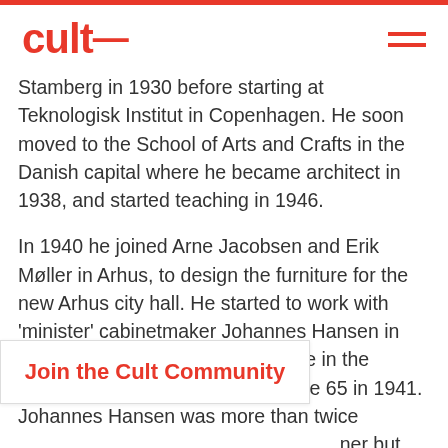CULT (logo) with hamburger menu
Stamberg in 1930 before starting at Teknologisk Institut in Copenhagen. He soon moved to the School of Arts and Crafts in the Danish capital where he became architect in 1938, and started teaching in 1946.
In 1940 he joined Arne Jacobsen and Erik Møller in Arhus, to design the furniture for the new Arhus city hall. He started to work with 'minister' cabinetmaker Johannes Hansen in 1940 and showed his first furniture in the famous Hansen store on Bredgade 65 in 1941. Johannes Hansen was more than twice [her] but the [the] two became the undisputed backbone of Danish
Join the Cult Community